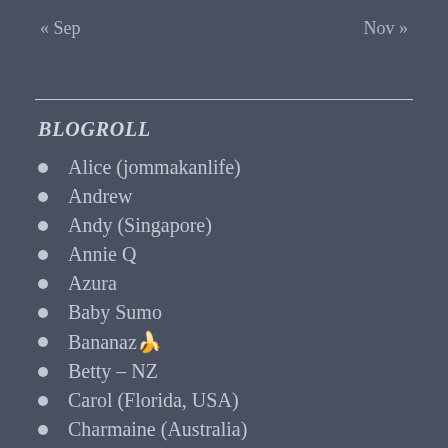« Sep    Nov »
BLOGROLL
Alice (jommakanlife)
Andrew
Andy (Singapore)
Annie Q
Azura
Baby Sumo
Bananaz🍌
Betty – NZ
Carol (Florida, USA)
Charmaine (Australia)